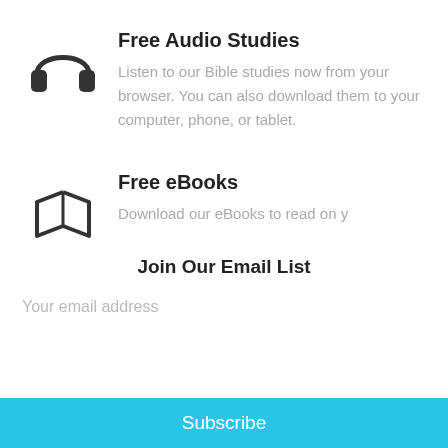[Figure (illustration): Headphones icon, dark gray outline]
Free Audio Studies
Listen to our Bible studies now from your browser. You can also download them to your computer, phone, or tablet.
[Figure (illustration): Open book/ebook icon, dark gray outline]
Free eBooks
Download our eBooks to read on y
Join Our Email List
Your email address
Subscribe